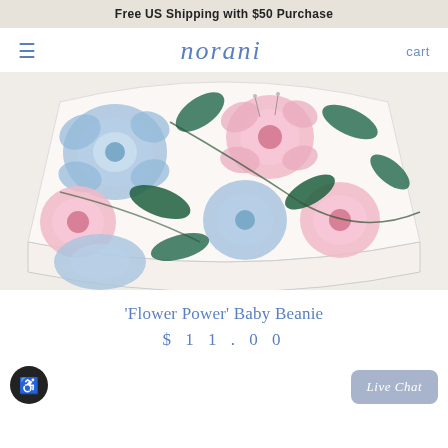Free US Shipping with $50 Purchase
[Figure (logo): Norani brand logo with hamburger menu and cart link]
[Figure (photo): A white baby beanie hat with floral pattern featuring blue and pink roses with green leaves on a cream background]
'Flower Power' Baby Beanie
$11.00